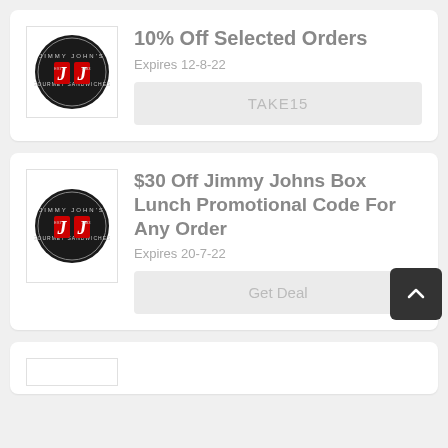[Figure (logo): Jimmy John's circular logo with JJ letters in red on black background]
10% Off Selected Orders
Expires 12-8-22
TAKE15
[Figure (logo): Jimmy John's circular logo with JJ letters in red on black background]
$30 Off Jimmy Johns Box Lunch Promotional Code For Any Order
Expires 20-7-22
Get Deal